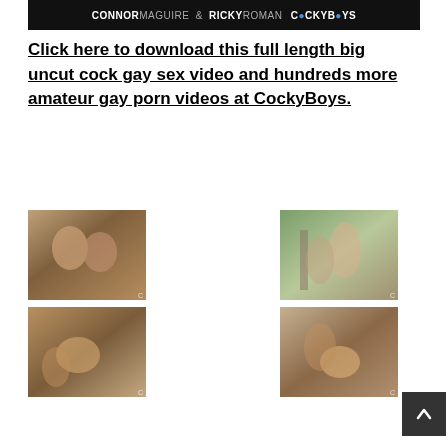[Figure (photo): Banner image with text: CONNORMAGUIRE & RICKYROMAN COCKYBOYS on dark background]
Click here to download this full length big uncut cock gay sex video and hundreds more amateur gay porn videos at CockyBoys.
[Figure (photo): Grid of four thumbnail images showing two men in outdoor setting]
[Figure (other): Scroll-to-top button with upward arrow]